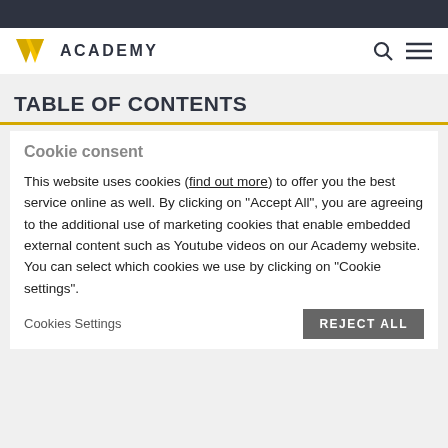[Figure (logo): Vulcan Academy logo with yellow V chevron and bold ACADEMY text]
TABLE OF CONTENTS
Cookie consent
This website uses cookies (find out more) to offer you the best service online as well. By clicking on "Accept All", you are agreeing to the additional use of marketing cookies that enable embedded external content such as Youtube videos on our Academy website. You can select which cookies we use by clicking on "Cookie settings".
Cookies Settings   REJECT ALL